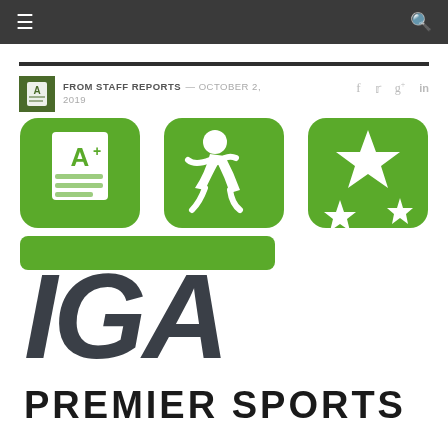Navigation bar with hamburger menu and search icon
FROM STAFF REPORTS — OCTOBER 2, 2019
[Figure (logo): IGA Premier Sports logo: three green rounded-rectangle icons (A+ report card, running person, stars) above large dark italic 'IGA' letters with 'PREMIER SPORTS' underneath in black sans-serif]